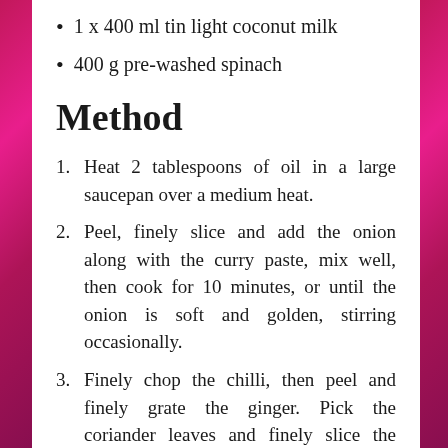1 x 400 ml tin light coconut milk
400 g pre-washed spinach
Method
1. Heat 2 tablespoons of oil in a large saucepan over a medium heat.
2. Peel, finely slice and add the onion along with the curry paste, mix well, then cook for 10 minutes, or until the onion is soft and golden, stirring occasionally.
3. Finely chop the chilli, then peel and finely grate the ginger. Pick the coriander leaves and finely slice the stalks. Chop the sweet potatoes into 2cm chunks.
4. Add the chilli, ginger, coriander stalks and sweet potato to the softened onion. Drain and